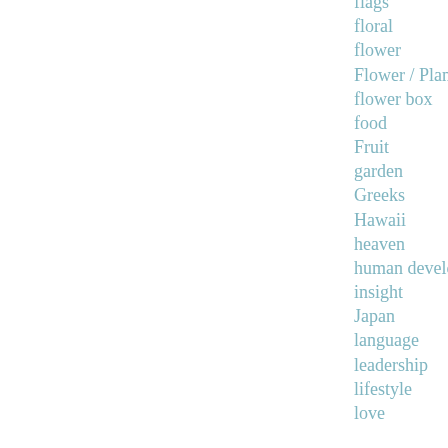flags
floral
flower
Flower / Plant
flower box
food
Fruit
garden
Greeks
Hawaii
heaven
human development
insight
Japan
language
leadership
lifestyle
love